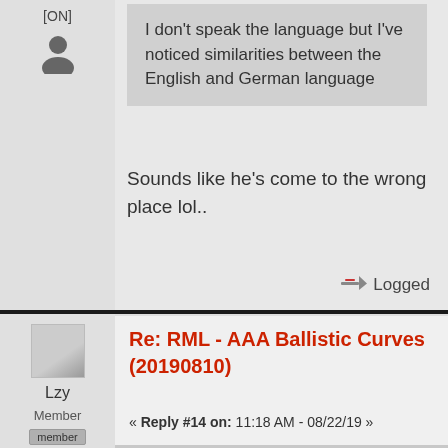[ON]
I don't speak the language but I've noticed similarities between the English and German language
Sounds like he's come to the wrong place lol..
Logged
[Figure (illustration): User avatar icon (silhouette)]
[Figure (illustration): Gray square avatar placeholder]
Lzy
Member
member
Re: RML - AAA Ballistic Curves (20190810)
« Reply #14 on: 11:18 AM - 08/22/19 »